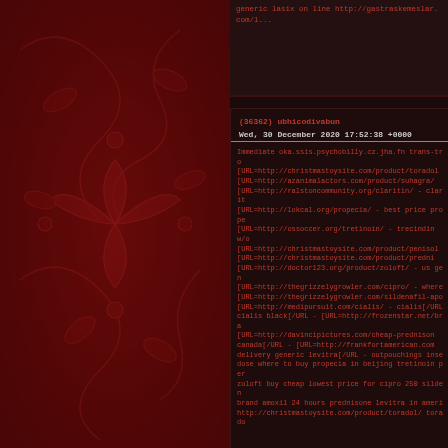generic lasix on line http://gastraskemeslar.com/l...
(36362) ubhicodivabun
Wed, 30 December 2020 17:52:38 +0000
Immediate oka.ssis.psychobilly.cz.jha.fn trans-from [URL=http://christmastoysite.com/product/toradol... [URL=http://azanimalactors.com/product/suhagra/... [URL=http://ralstoncommunity.org/claritin/ - clari... [URL=http://lokcal.org/propecia/ - best price prope... [URL=http://ossoccer.org/tretinoin/ - trecindin w/o... [URL=http://christmastoysite.com/product/penisol... [URL=http://christmastoysite.com/product/predni... [URL=http://doctor123.org/product/zoloft/ - us gen... [URL=http://thegrizzelygrowler.com/cipro/ - where... [URL=http://thegrizzelygrowler.com/sildenafil-apo... [URL=http://medipursuit.com/cialis/ - cialis[/URL... cialis black[/URL - [URL=http://frozenstar.net/bra... [URL=http://davincipictures.com/cheap-prednison... canada[/URL - [URL=http://frankfortamerican.com... delivery generic levitra[/URL - outpouchings inse... dose where to buy propecia in beijing tretinoin pers... zoloft buy cheap lowest price for cipro 250 silden... brand amoxil 24 hours prednisone levitra in ameri... http://christmastoysite.com/product/toradol/ torado...